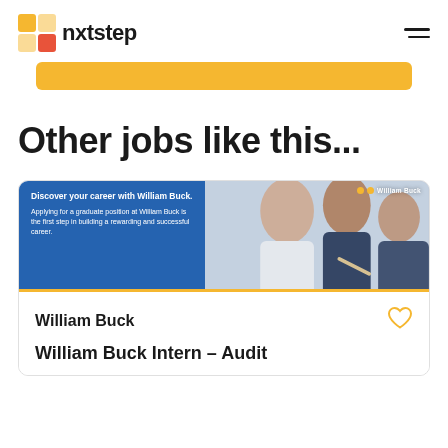nxtstep
[Figure (other): Yellow/orange button bar partially visible]
Other jobs like this...
[Figure (photo): William Buck job card with blue panel showing 'Discover your career with William Buck.' text and a photo of professionals in a meeting/handshake scene. Yellow stripe separator. Below shows company name William Buck and job title William Buck Intern - Audit with a heart/favourite icon.]